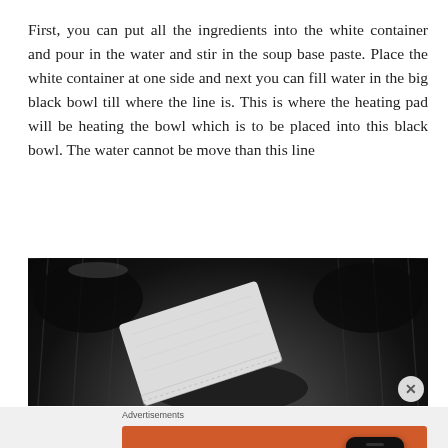First, you can put all the ingredients into the white container and pour in the water and stir in the soup base paste. Place the white container at one side and next you can fill water in the big black bowl till where the line is. This is where the heating pad will be heating the bowl which is to be placed into this black bowl. The water cannot be move than this line
[Figure (photo): Photo of a white heating pad or packet placed inside a large black bowl, viewed from above. The bowl has ribbed/ridged sides and the white packet is positioned diagonally in the center.]
Advertisements
[Figure (screenshot): DuckDuckGo advertisement banner with orange background. Left side text: 'Search, browse, and email with more privacy.' with a white button 'All in One Free App'. Right side shows a phone mockup with DuckDuckGo logo and name.]